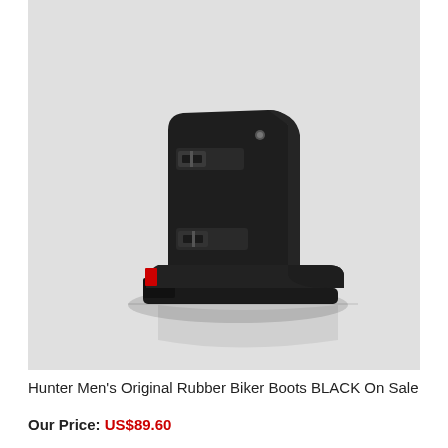[Figure (photo): Black Hunter Men's Original Rubber Biker Boot shown in profile view against a light gray background, featuring two buckle straps and a chunky rubber sole.]
Hunter Men's Original Rubber Biker Boots BLACK On Sale
Our Price: US$89.60